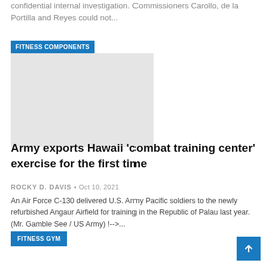confidential internal investigation. Commissioners Carollo, de la Portilla and Reyes could not...
[Figure (other): Fitness Components image placeholder with blue label header]
Army exports Hawaii ‘combat training center’ exercise for the first time
ROCKY D. DAVIS • Oct 10, 2021
An Air Force C-130 delivered U.S. Army Pacific soldiers to the newly refurbished Angaur Airfield for training in the Republic of Palau last year. (Mr. Gamble See / US Army) !-->...
FITNESS GYM